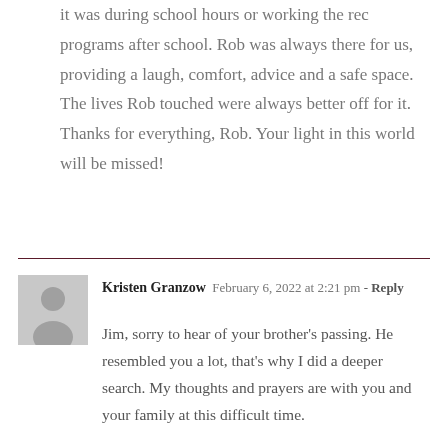it was during school hours or working the rec programs after school. Rob was always there for us, providing a laugh, comfort, advice and a safe space. The lives Rob touched were always better off for it. Thanks for everything, Rob. Your light in this world will be missed!
Kristen Granzow  February 6, 2022 at 2:21 pm - Reply
Jim, sorry to hear of your brother's passing. He resembled you a lot, that's why I did a deeper search. My thoughts and prayers are with you and your family at this difficult time.